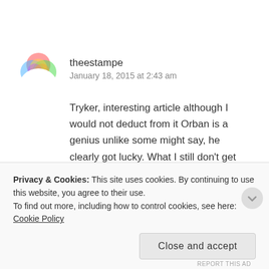[Figure (illustration): Colorful circular avatar icon with overlapping translucent colored circles (iOS-style)]
theestampe
January 18, 2015 at 2:43 am
Tryker, interesting article although I would not deduct from it Orban is a genius unlike some might say, he clearly got lucky. What I still don’t get clearly is who is paying the bill because someone still has to pay the difference. It looks like everybody is: the banks, the state and every citizen with the huge fees on bank transactions. I’m curious who will be hurt in the end.
Privacy & Cookies: This site uses cookies. By continuing to use this website, you agree to their use.
To find out more, including how to control cookies, see here: Cookie Policy
Close and accept